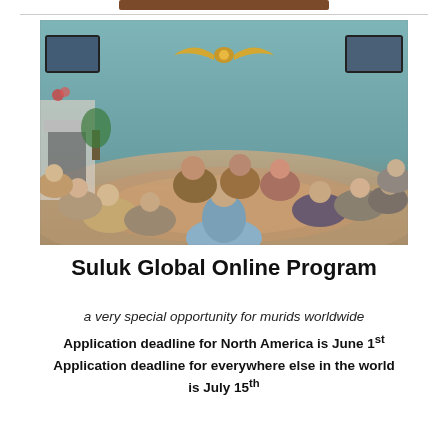[Figure (photo): Group of people sitting in a circle on a patterned rug in a room with teal walls, a fireplace, and a golden winged decoration on the wall. The group appears to be in a spiritual or community gathering.]
Suluk Global Online Program
a very special opportunity for murids worldwide
Application deadline for North America is June 1st
Application deadline for everywhere else in the world is July 15th